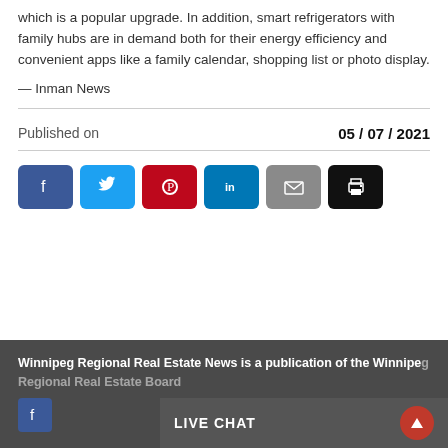which is a popular upgrade. In addition, smart refrigerators with family hubs are in demand both for their energy efficiency and convenient apps like a family calendar, shopping list or photo display.
— Inman News
Published on   05 / 07 / 2021
[Figure (other): Social sharing buttons: Facebook, Twitter, Pinterest, LinkedIn, Email, Print]
Winnipeg Regional Real Estate News is a publication of the Winnipeg Regional Real Estate Board
LIVE CHAT